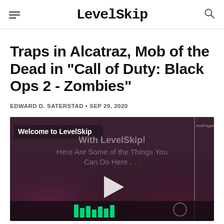LevelSkip
Traps in Alcatraz, Mob of the Dead in "Call of Duty: Black Ops 2 - Zombies"
EDWARD D. SATERSTAD • SEP 29, 2020
[Figure (screenshot): Video player showing LevelSkip welcome screen with text 'Welcome to LevelSkip With LevelSkip! Here Are Some of the Things You Can Do Here...' and a play button in the center. HubPages badge visible in top right corner.]